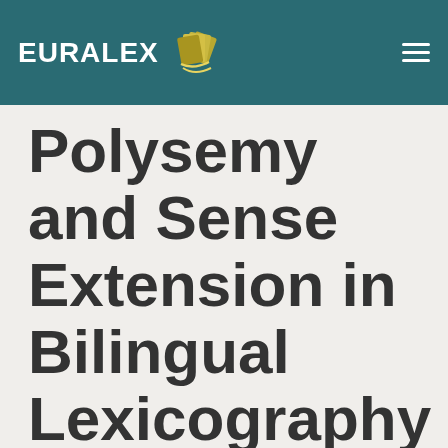EURALEX
Polysemy and Sense Extension in Bilingual Lexicography